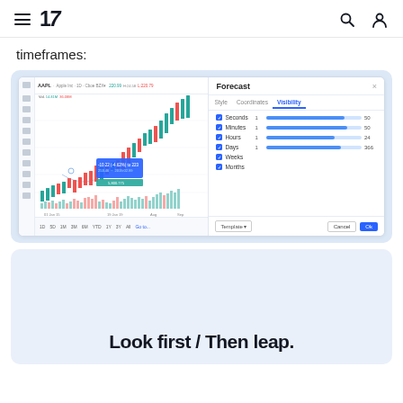TradingView navigation header with hamburger menu, logo, search and user icons
timeframes:
[Figure (screenshot): TradingView chart screenshot showing AAPL candlestick chart with a Forecast drawing tool dialog open. The dialog shows Visibility tab with options for Seconds (1, 50), Minutes (1, 50), Hours (1, 24), Days (1, 366), Weeks, and Months with blue slider bars. Bottom has Template, Cancel, and Ok buttons.]
[Figure (screenshot): Partial screenshot of another TradingView chart view in a light blue rounded container.]
Look first / Then leap.